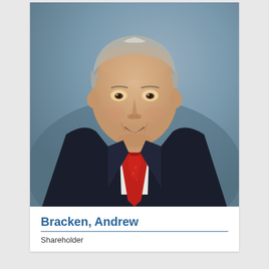[Figure (photo): Professional headshot of Andrew Bracken, a middle-aged man with gray-white hair, wearing a dark navy suit, white dress shirt, and red tie, smiling against a blue-gray background.]
Bracken, Andrew
Shareholder